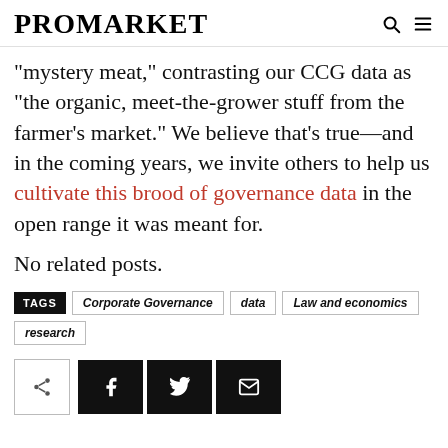PROMARKET
“mystery meat,” contrasting our CCG data as “the organic, meet-the-grower stuff from the farmer’s market.” We believe that’s true—and in the coming years, we invite others to help us cultivate this brood of governance data in the open range it was meant for.
No related posts.
TAGS  Corporate Governance  data  Law and economics  research